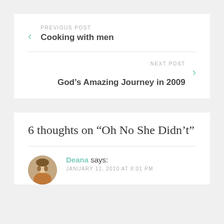PREVIOUS POST
Cooking with men
NEXT POST
God's Amazing Journey in 2009
6 thoughts on “Oh No She Didn’t”
Deana says:
JANUARY 11, 2010 AT 8:01 PM